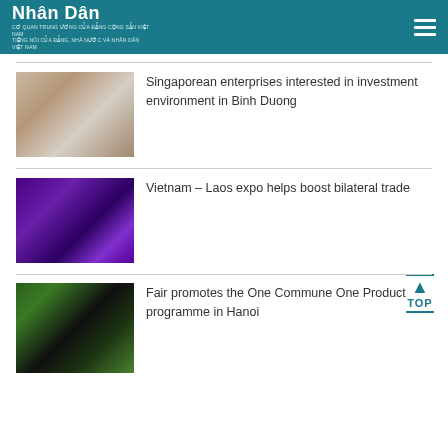Nhân Dân
[Figure (photo): Meeting room with people seated around a long table, conference setting]
Singaporean enterprises interested in investment environment in Binh Duong
[Figure (photo): Expo event with people on stage, purple lighting, Vietnam Laos expo ceremony]
Vietnam – Laos expo helps boost bilateral trade
[Figure (photo): Fair event with people in traditional Vietnamese dress examining products]
Fair promotes the One Commune One Product programme in Hanoi